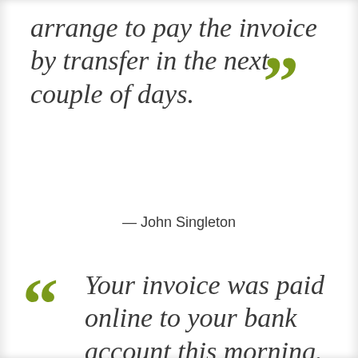arrange to pay the invoice by transfer in the next couple of days.
— John Singleton
Your invoice was paid online to your bank account this morning. We are very pleased with the work done by